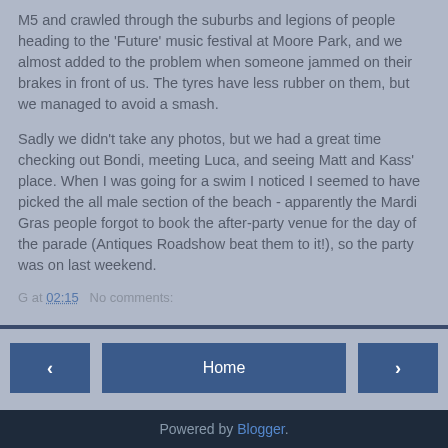M5 and crawled through the suburbs and legions of people heading to the 'Future' music festival at Moore Park, and we almost added to the problem when someone jammed on their brakes in front of us. The tyres have less rubber on them, but we managed to avoid a smash.
Sadly we didn't take any photos, but we had a great time checking out Bondi, meeting Luca, and seeing Matt and Kass' place. When I was going for a swim I noticed I seemed to have picked the all male section of the beach - apparently the Mardi Gras people forgot to book the after-party venue for the day of the parade (Antiques Roadshow beat them to it!), so the party was on last weekend.
G at 02:15   No comments:
Home
View web version
Powered by Blogger.